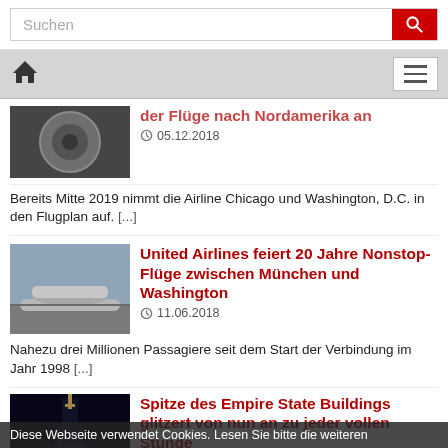Suchen [search bar with red button]
Home icon and hamburger menu
der Flüge nach Nordamerika an
05.12.2018
Bereits Mitte 2019 nimmt die Airline Chicago und Washington, D.C. in den Flugplan auf. [...]
United Airlines feiert 20 Jahre Nonstop-Flüge zwischen München und Washington
11.06.2018
Nahezu drei Millionen Passagiere seit dem Start der Verbindung im Jahr 1998 [...]
Spitze des Empire State Buildings glitzert von nun an zu jeder vollen Stunde
Diese Webseite verwendet Cookies. Lesen Sie bitte die weiteren